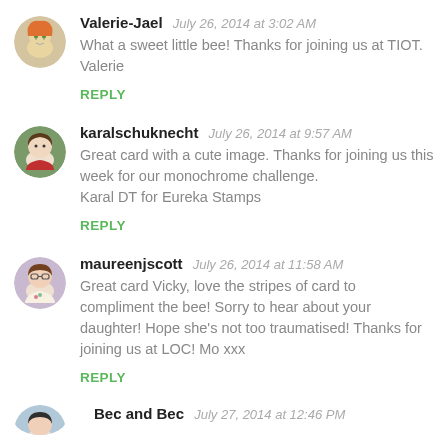[Figure (photo): Round avatar of Valerie-Jael, illustrated cartoon character with orange hair]
Valerie-Jael July 26, 2014 at 3:02 AM
What a sweet little bee! Thanks for joining us at TIOT. Valerie
REPLY
[Figure (photo): Round avatar of karalschuknecht, photo of a woman]
karalschuknecht July 26, 2014 at 9:57 AM
Great card with a cute image. Thanks for joining us this week for our monochrome challenge.
Karal DT for Eureka Stamps
REPLY
[Figure (photo): Round avatar of maureenjscott, photo of a woman]
maureenjscott July 26, 2014 at 11:58 AM
Great card Vicky, love the stripes of card to compliment the bee! Sorry to hear about your daughter! Hope she's not too traumatised! Thanks for joining us at LOC! Mo xxx
REPLY
[Figure (photo): Partial round avatar at bottom, partially visible]
Bec and Bec July 27, 2014 at ...